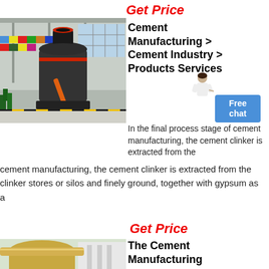Get Price
[Figure (photo): Large industrial cement grinding mill machine inside a factory hall, with colorful flags on the wall in the background.]
Cement Manufacturing > Cement Industry > Products Services
[Figure (illustration): Person/assistant icon with Free chat button]
In the final process stage of cement manufacturing, the cement clinker is extracted from the clinker stores or silos and finely ground, together with gypsum as a
Get Price
[Figure (photo): Industrial cement manufacturing facility with large pipes and silos.]
The Cement Manufacturing